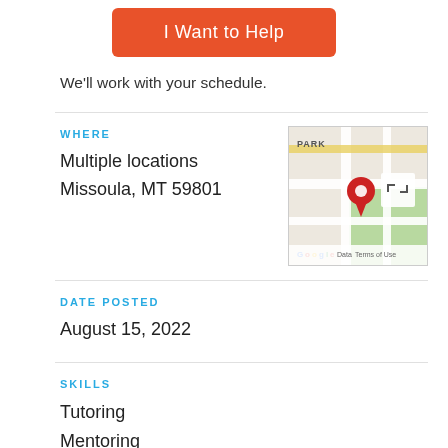[Figure (other): Orange 'I Want to Help' button]
We'll work with your schedule.
WHERE
Multiple locations
Missoula, MT 59801
[Figure (map): Google Maps thumbnail showing Missoula, MT area with red map pin and PARK label]
DATE POSTED
August 15, 2022
SKILLS
Tutoring
Mentoring
Teaching / Instruction
English as a Secondary Language (ESL)